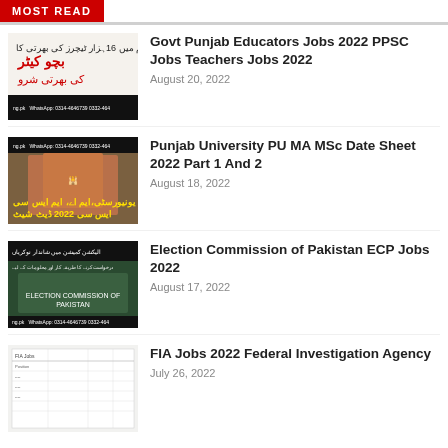MOST READ
Govt Punjab Educators Jobs 2022 PPSC Jobs Teachers Jobs 2022 — August 20, 2022
Punjab University PU MA MSc Date Sheet 2022 Part 1 And 2 — August 18, 2022
Election Commission of Pakistan ECP Jobs 2022 — August 17, 2022
FIA Jobs 2022 Federal Investigation Agency — July 26, 2022